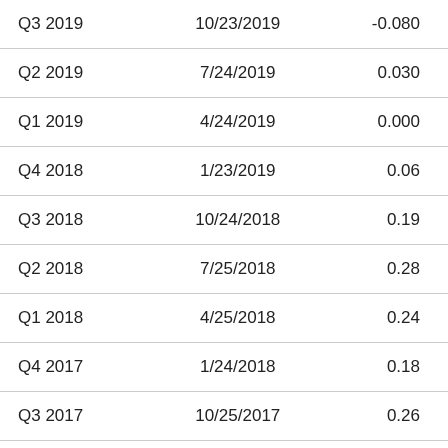| Q3 2019 | 10/23/2019 | -0.080 |
| Q2 2019 | 7/24/2019 | 0.030 |
| Q1 2019 | 4/24/2019 | 0.000 |
| Q4 2018 | 1/23/2019 | 0.06 |
| Q3 2018 | 10/24/2018 | 0.19 |
| Q2 2018 | 7/25/2018 | 0.28 |
| Q1 2018 | 4/25/2018 | 0.24 |
| Q4 2017 | 1/24/2018 | 0.18 |
| Q3 2017 | 10/25/2017 | 0.26 |